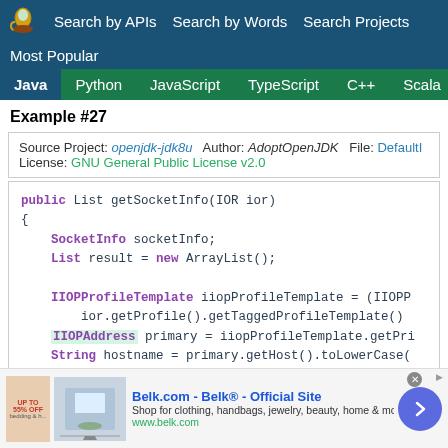Search by APIs  Search by Words  Search Projects
Most Popular
Java  Python  JavaScript  TypeScript  C++  Scala
Example #27
Source Project: openjdk-jdk8u  Author: AdoptOpenJDK  File: DefaultI...  License: GNU General Public License v2.0
public List getSocketInfo(IOR ior)
{
    SocketInfo socketInfo;
    List result = new ArrayList();

    IIOPProfileTemplate iiopProfileTemplate = (IIOPP
        ior.getProfile().getTaggedProfileTemplate()
    IIOPAddress primary = iiopProfileTemplate.getPri...
    String hostname = primary.getHost().toLowerCase(
[Figure (screenshot): Advertisement banner for Belk.com - Belk Official Site. Shows clothing/home goods imagery, text: Shop for clothing, handbags, jewelry, beauty, home & more! www.belk.com, with a blue circular arrow button.]